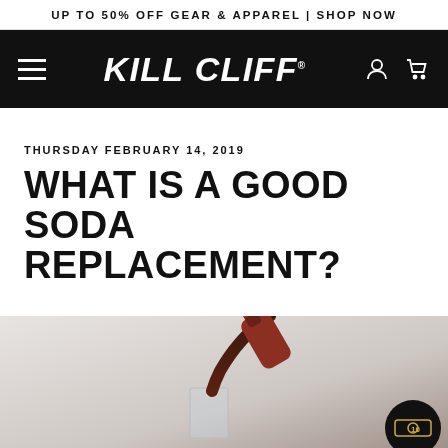UP TO 50% OFF GEAR & APPAREL | SHOP NOW
[Figure (logo): Kill Cliff brand logo in white italic bold font on black navigation bar, with hamburger menu icon on left, and person/cart icons on right]
THURSDAY FEBRUARY 14, 2019
WHAT IS A GOOD SODA REPLACEMENT?
[Figure (photo): A dark cola being poured from a bottle into a glass, on a light background, with a money/reward badge icon in the bottom right corner]